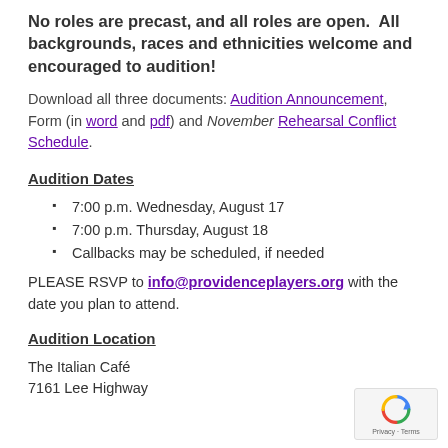No roles are precast, and all roles are open. All backgrounds, races and ethnicities welcome and encouraged to audition!
Download all three documents: Audition Announcement, Form (in word and pdf) and November Rehearsal Conflict Schedule.
Audition Dates
7:00 p.m. Wednesday, August 17
7:00 p.m. Thursday, August 18
Callbacks may be scheduled, if needed
PLEASE RSVP to info@providenceplayers.org with the date you plan to attend.
Audition Location
The Italian Café
7161 Lee Highway